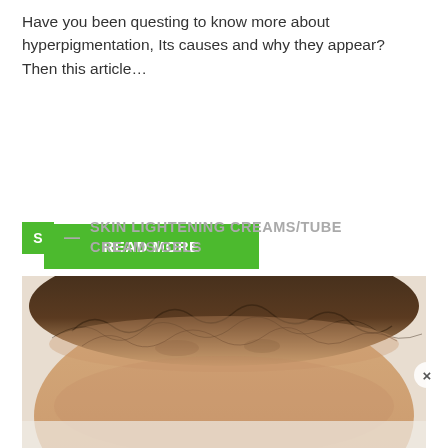Have you been questing to know more about hyperpigmentation, Its causes and why they appear? Then this article…
READ MORE
SKIN LIGHTENING CREAMS/TUBE CREAMS/GELS
[Figure (photo): Close-up photo of a person's forehead and hairline showing skin condition (hyperpigmentation area near hairline)]